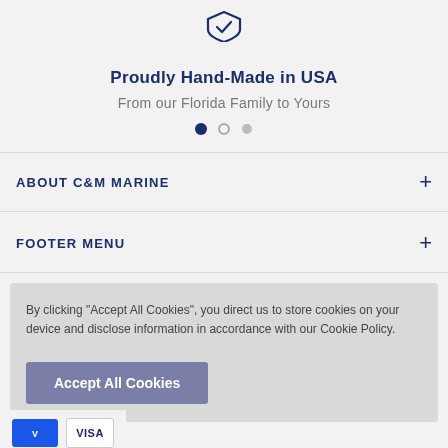[Figure (illustration): Shield icon outline in dark navy blue, partially cropped at top]
Proudly Hand-Made in USA
From our Florida Family to Yours
[Figure (other): Three pagination dots: first filled navy, second and third grey]
ABOUT C&M MARINE
FOOTER MENU
By clicking "Accept All Cookies", you direct us to store cookies on your device and disclose information in accordance with our Cookie Policy.
Accept All Cookies